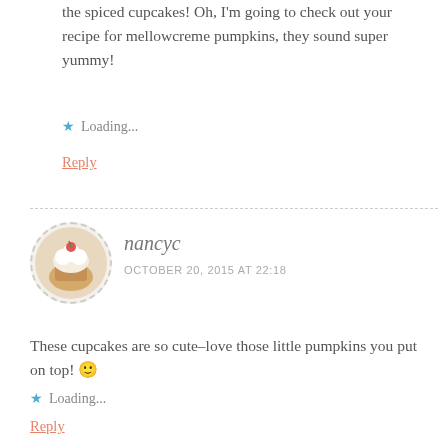the spiced cupcakes! Oh, I'm going to check out your recipe for mellowcreme pumpkins, they sound super yummy!
Loading...
Reply
nancyc
OCTOBER 20, 2015 AT 22:18
These cupcakes are so cute–love those little pumpkins you put on top! 🙂
Loading...
Reply